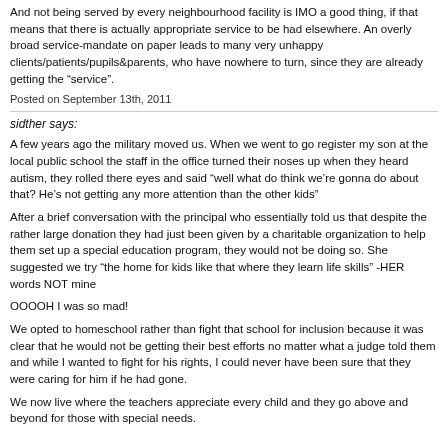And not being served by every neighbourhood facility is IMO a good thing, if that means that there is actually appropriate service to be had elsewhere. An overly broad service-mandate on paper leads to many very unhappy clients/patients/pupils&parents, who have nowhere to turn, since they are already getting the "service".
Posted on September 13th, 2011
sidther says:
A few years ago the military moved us. When we went to go register my son at the local public school the staff in the office turned their noses up when they heard autism, they rolled there eyes and said "well what do think we're gonna do about that? He's not getting any more attention than the other kids"
After a brief conversation with the principal who essentially told us that despite the rather large donation they had just been given by a charitable organization to help them set up a special education program, they would not be doing so. She suggested we try "the home for kids like that where they learn life skills" -HER words NOT mine
OOOOH I was so mad!
We opted to homeschool rather than fight that school for inclusion because it was clear that he would not be getting their best efforts no matter what a judge told them and while I wanted to fight for his rights, I could never have been sure that they were caring for him if he had gone.
We now live where the teachers appreciate every child and they go above and beyond for those with special needs.